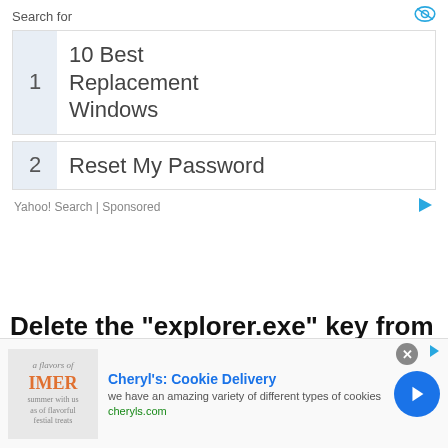Search for
1  10 Best Replacement Windows
2  Reset My Password
Yahoo! Search | Sponsored
Delete the “explorer.exe” key from Registry First open registry windows from Win + R and type regedit and click on ok this will open
[Figure (infographic): Bottom advertisement banner for Cheryl's Cookie Delivery with image, title, description, and CTA button]